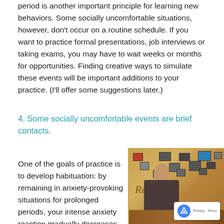period is another important principle for learning new behaviors. Some socially uncomfortable situations, however, don't occur on a routine schedule. If you want to practice formal presentations, job interviews or taking exams, you may have to wait weeks or months for opportunities. Finding creative ways to simulate these events will be important additions to your practice. (I'll offer some suggestions later.)
4. Some socially uncomfortable events are brief contacts.
One of the goals of practice is to develop habituation: by remaining in anxiety-provoking situations for prolonged periods, your intense anxiety reaction gradually decreases. As you become
[Figure (photo): Book cover image for 'Recovery' showing a person seated in what appears to be a waiting room or therapy setting, with framed pictures on the wall and warm golden/brown tones. The word 'Recovery' appears in italic script.]